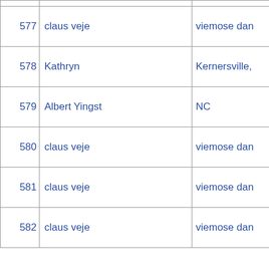| # | Name | Location |
| --- | --- | --- |
| 577 | claus veje | viemose dan |
| 578 | Kathryn | Kernersville, |
| 579 | Albert Yingst | NC |
| 580 | claus veje | viemose dan |
| 581 | claus veje | viemose dan |
| 582 | claus veje | viemose dan |